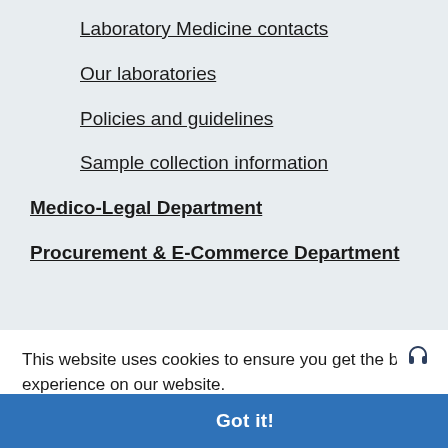Laboratory Medicine contacts
Our laboratories
Policies and guidelines
Sample collection information
Medico-Legal Department
Procurement & E-Commerce Department
The Manchester Clinical Academic Centre (MCAC) at MFT
Rare Conditions Centre – launching late 2021
Information for Overseas Visitors
LIME: Arts and Health
This website uses cookies to ensure you get the best experience on our website.
Learn more
Got it!